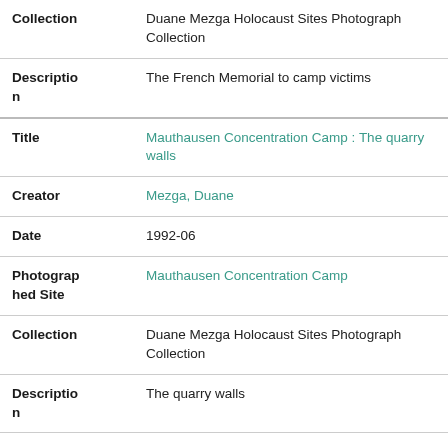| Collection | Duane Mezga Holocaust Sites Photograph Collection |
| Description | The French Memorial to camp victims |
| Title | Mauthausen Concentration Camp : The quarry walls |
| Creator | Mezga, Duane |
| Date | 1992-06 |
| Photographed Site | Mauthausen Concentration Camp |
| Collection | Duane Mezga Holocaust Sites Photograph Collection |
| Description | The quarry walls |